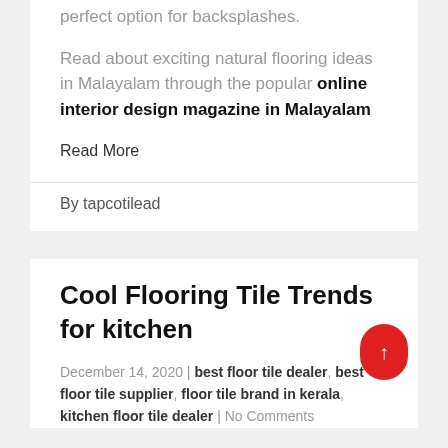perfect option for backsplashes.
Read about exciting natural flooring ideas in Malayalam through the popular online interior design magazine in Malayalam
Read More
By tapcotilead
Cool Flooring Tile Trends for kitchen
December 14, 2020 | best floor tile dealer, best floor tile supplier, floor tile brand in kerala, kitchen floor tile dealer | No Comments